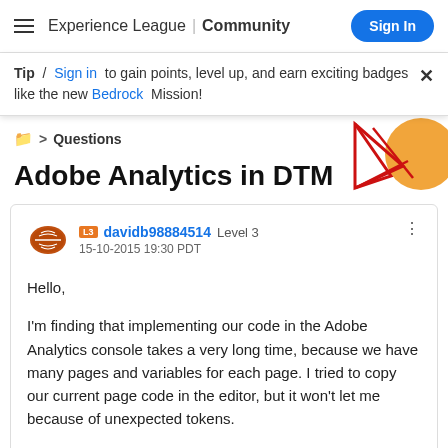Experience League | Community  Sign In
Tip / Sign in to gain points, level up, and earn exciting badges like the new Bedrock Mission!
[Figure (illustration): Decorative geometric graphic with orange circle and red triangle/arrow shapes in top-right corner]
🗂 > Questions
Adobe Analytics in DTM
davidb98884514 Level 3
15-10-2015 19:30 PDT
Hello,

I'm finding that implementing our code in the Adobe Analytics console takes a very long time, because we have many pages and variables for each page. I tried to copy our current page code in the editor, but it won't let me because of unexpected tokens.